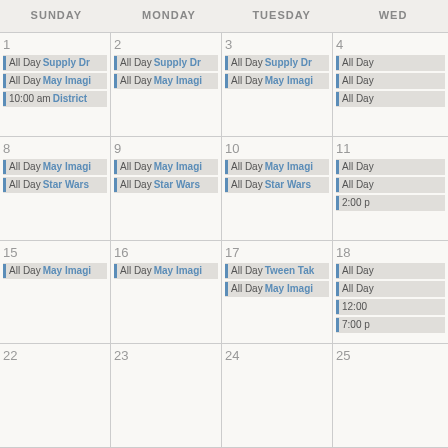| SUNDAY | MONDAY | TUESDAY | WED... |
| --- | --- | --- | --- |
| 1 - All Day Supply Dr, All Day May Imagi, 10:00 am District | 2 - All Day Supply Dr, All Day May Imagi | 3 - All Day Supply Dr, All Day May Imagi | 4 - All Day, All Day, All Day |
| 8 - All Day May Imagi, All Day Star Wars | 9 - All Day May Imagi, All Day Star Wars | 10 - All Day May Imagi, All Day Star Wars | 11 - All Day, All Day, 2:00 p |
| 15 - All Day May Imagi | 16 - All Day May Imagi | 17 - All Day Tween Tak, All Day May Imagi | 18 - All Day, All Day, 12:00, 7:00 p |
| 22 | 23 | 24 | 25 |